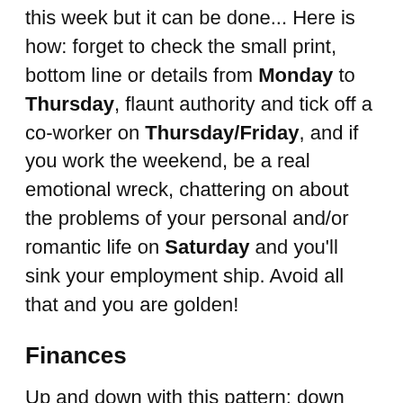this week but it can be done... Here is how: forget to check the small print, bottom line or details from Monday to Thursday, flaunt authority and tick off a co-worker on Thursday/Friday, and if you work the weekend, be a real emotional wreck, chattering on about the problems of your personal and/or romantic life on Saturday and you'll sink your employment ship. Avoid all that and you are golden!
Finances
Up and down with this pattern: down Monday to Wednesday, up Thursday into later Friday, down Saturday and back up Sunday if you don't "check grab".